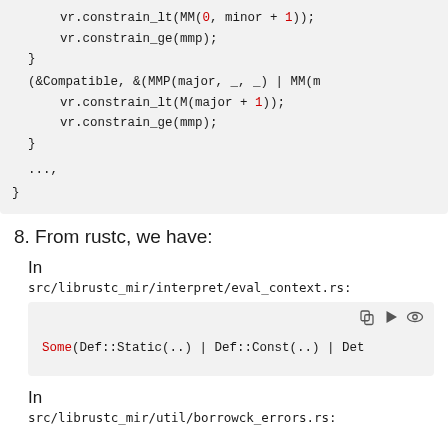[Figure (screenshot): Code block showing Rust pattern matching with vr.constrain_lt and vr.constrain_ge calls, closing braces, and ellipsis]
8. From rustc, we have:
In
src/librustc_mir/interpret/eval_context.rs:
[Figure (screenshot): Code block showing: Some(Def::Static(..) | Def::Const(..) | Def with copy/run/view icons]
In
src/librustc_mir/util/borrowck_errors.rs: